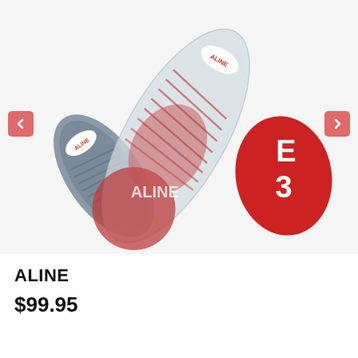[Figure (photo): Product photo of ALINE shoe insoles. Two insoles displayed: one clear/transparent with red cushioning and ribbed fins visible from the underside, and one gray insole shown from the top. A separate red insole pad with white ALINE lettering is also visible. Navigation arrows (left/right) are shown on the sides of the image carousel.]
ALINE
$99.95